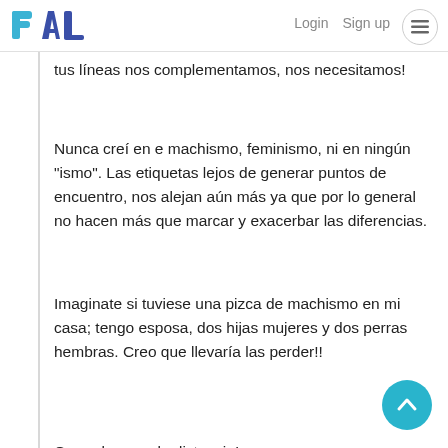PAL | Login  Sign up
tus líneas nos complementamos, nos necesitamos!
Nunca creí en e machismo, feminismo, ni en ningún "ismo". Las etiquetas lejos de generar puntos de encuentro, nos alejan aún más ya que por lo general no hacen más que marcar y exacerbar las diferencias.
Imaginate si tuviese una pizca de machismo en mi casa; tengo esposa, dos hijas mujeres y dos perras hembras. Creo que llevaría las perder!!
Gran abrazo a la distancia!